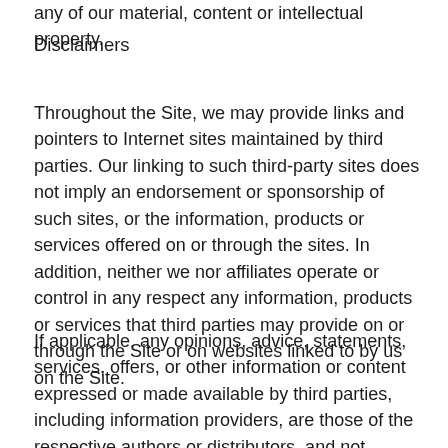any of our material, content or intellectual property.
Disclaimers
Throughout the Site, we may provide links and pointers to Internet sites maintained by third parties. Our linking to such third-party sites does not imply an endorsement or sponsorship of such sites, or the information, products or services offered on or through the sites. In addition, neither we nor affiliates operate or control in any respect any information, products or services that third parties may provide on or through the Site or on websites linked to by us on the Site.
If applicable, any opinions, advice, statements, services, offers, or other information or content expressed or made available by third parties, including information providers, are those of the respective authors or distributors, and not COMPANY. Neither COMPANY nor any third-party provider